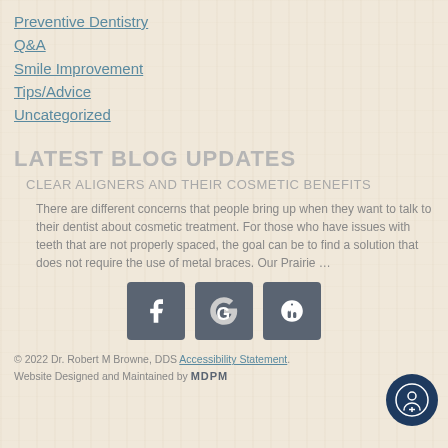Preventive Dentistry
Q&A
Smile Improvement
Tips/Advice
Uncategorized
LATEST BLOG UPDATES
CLEAR ALIGNERS AND THEIR COSMETIC BENEFITS
There are different concerns that people bring up when they want to talk to their dentist about cosmetic treatment. For those who have issues with teeth that are not properly spaced, the goal can be to find a solution that does not require the use of metal braces. Our Prairie …
[Figure (logo): Social media icons: Facebook, Google, and Yelp in dark grey square buttons]
© 2022 Dr. Robert M Browne, DDS Accessibility Statement. Website Designed and Maintained by MDPM DENTAL MARKETING